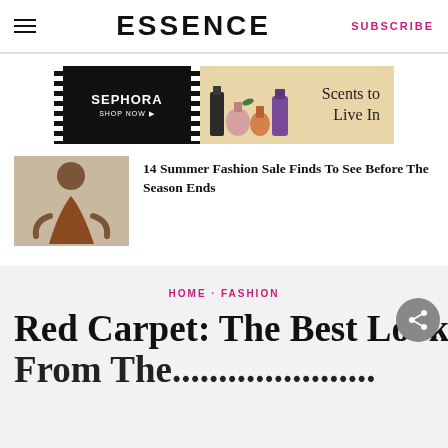ESSENCE | SUBSCRIBE
[Figure (other): Sephora advertisement banner: 'SEPHORA SHOP NOW' on dark left panel with film strip border, 'Scents to Live In' text on beige right panel with perfume bottles]
14 Summer Fashion Sale Finds To See Before The Season Ends
HOME · FASHION
Red Carpet: The Best Looks